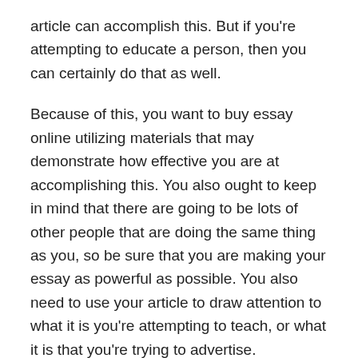article can accomplish this. But if you're attempting to educate a person, then you can certainly do that as well.
Because of this, you want to buy essay online utilizing materials that may demonstrate how effective you are at accomplishing this. You also ought to keep in mind that there are going to be lots of other people that are doing the same thing as you, so be sure that you are making your essay as powerful as possible. You also need to use your article to draw attention to what it is you're attempting to teach, or what it is that you're trying to advertise.
The last thing which you will need to do when you are attempting to purchase essay on the internet is to be certain that you are using a very good grammar guide. Employing a bad punctuation manual usually means that you're going to have trouble reading your essay. Also, make sure that you are using a spell checker too, and be sure that